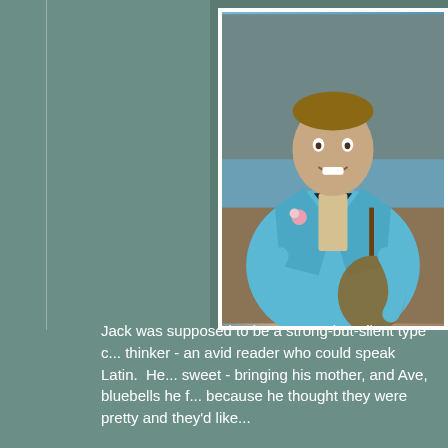[Figure (photo): Man in a light blue tuxedo jacket with black lapels and bow tie, wearing a floral boutonniere and a sequined vest, holding what appears to be a guitar, photographed against a decorative background]
Jack was supposed to be a strong-but-silent type c... thinker - an avid reader who could speak Latin.  He... sweet - bringing his mother, and Ave, bluebells he f... because he thought they were pretty and they'd like...
None of that was presented in this film, except a sli... once checked out.
And again, zero chemistry between Ashley and Pat...